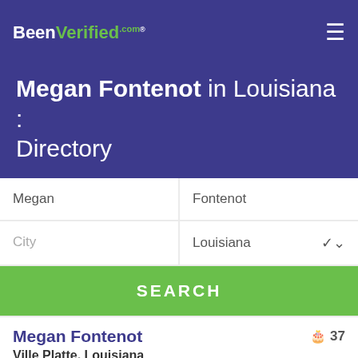BeenVerified.com
Megan Fontenot in Louisiana : Directory
Megan | Fontenot | City | Louisiana
SEARCH
Megan Fontenot
Ville Platte, Louisiana
337-363-6363  337-363-6389